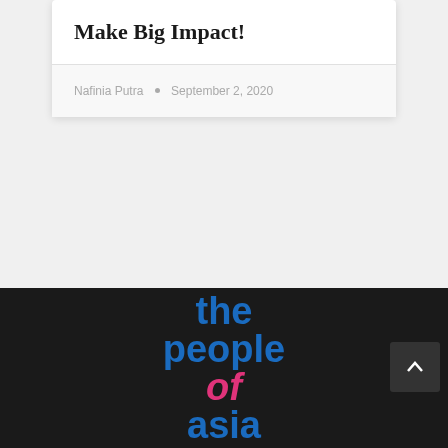Make Big Impact!
Nafinia Putra • September 2, 2020
[Figure (logo): The People of Asia logo in dark footer — large bold text reading 'the people of asia' in blue with 'of' in pink italic]